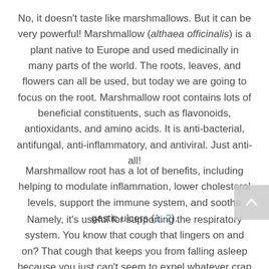No, it doesn't taste like marshmallows. But it can be very powerful! Marshmallow (althaea officinalis) is a plant native to Europe and used medicinally in many parts of the world. The roots, leaves, and flowers can all be used, but today we are going to focus on the root. Marshmallow root contains lots of beneficial constituents, such as flavonoids, antioxidants, and amino acids. It is anti-bacterial, antifungal, anti-inflammatory, and antiviral. Just anti-all!
Marshmallow root has a lot of benefits, including helping to modulate inflammation, lower cholesterol levels, support the immune system, and soothe gastic ulcers (1, 2).
Namely, it's useful for supporting the respiratory system. You know that cough that lingers on and on? That cough that keeps you from falling asleep because you just can't seem to expel whatever crap is stuck in there? Marshmallow might be helpful.